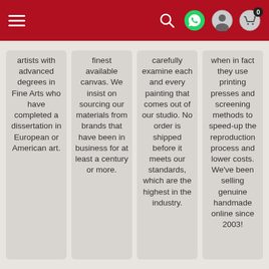Navigation bar with hamburger menu, search, WhatsApp, account, and cart (0) icons
artists with advanced degrees in Fine Arts who have completed a dissertation in European or American art.
finest available canvas. We insist on sourcing our materials from brands that have been in business for at least a century or more.
carefully examine each and every painting that comes out of our studio. No order is shipped before it meets our standards, which are the highest in the industry.
when in fact they use printing presses and screening methods to speed-up the reproduction process and lower costs. We've been selling genuine handmade online since 2003!